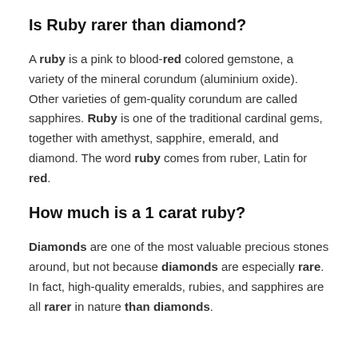Is Ruby rarer than diamond?
A ruby is a pink to blood-red colored gemstone, a variety of the mineral corundum (aluminium oxide). Other varieties of gem-quality corundum are called sapphires. Ruby is one of the traditional cardinal gems, together with amethyst, sapphire, emerald, and diamond. The word ruby comes from ruber, Latin for red.
How much is a 1 carat ruby?
Diamonds are one of the most valuable precious stones around, but not because diamonds are especially rare. In fact, high-quality emeralds, rubies, and sapphires are all rarer in nature than diamonds.